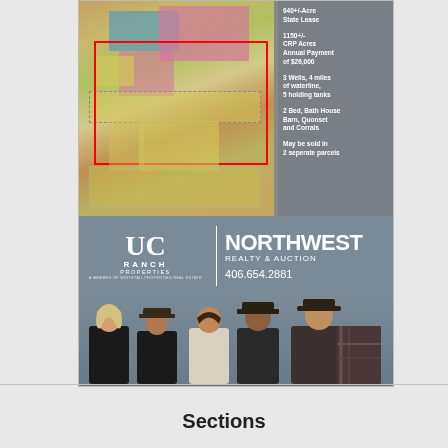[Figure (infographic): Real estate advertisement for UC Ranch Properties / Northwest Realty & Auction. Top portion shows an aerial map of ranch parcels with colored overlays (pink/blue/yellow). Right panel lists property features: 640+/- Acre State Lease; 1150+/- CRP Acres Annual Payment of $26,000; 3 Wells, 4 miles of waterline, 5 holding tanks; 2 Bed, Bath House Barn, Quonset and Corrals; May be sold in 2 separate parcels. Middle section shows UC Ranch Properties logo and Northwest Realty & Auction branding with phone 406.654.2881. Bottom shows a team photo of 5 real estate agents.]
Sections